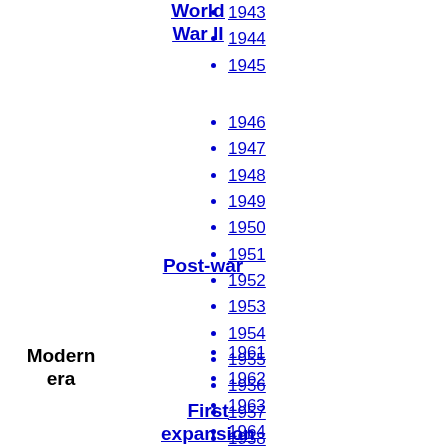World War II
1943
1944
1945
Post-war
1946
1947
1948
1949
1950
1951
1952
1953
1954
1955
1956
1957
1958
1959
1960
Modern era
1961
1962
1963
1964
1965
1966
First expansion